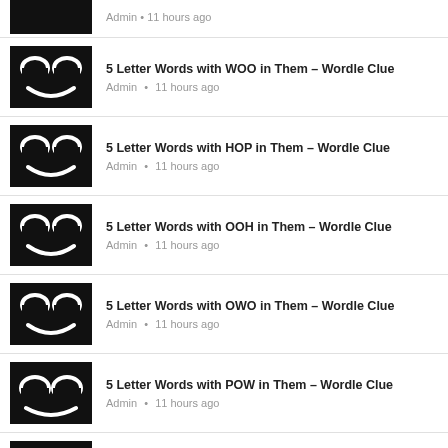Admin • 11 hours ago (partial top item)
5 Letter Words with WOO in Them – Wordle Clue
Admin • 11 hours ago
5 Letter Words with HOP in Them – Wordle Clue
Admin • 11 hours ago
5 Letter Words with OOH in Them – Wordle Clue
Admin • 11 hours ago
5 Letter Words with OWO in Them – Wordle Clue
Admin • 11 hours ago
5 Letter Words with POW in Them – Wordle Clue
Admin • 11 hours ago
5-Letter Words with O as Fourth Letter – Wordle Clue
Admin • 11 hours ago